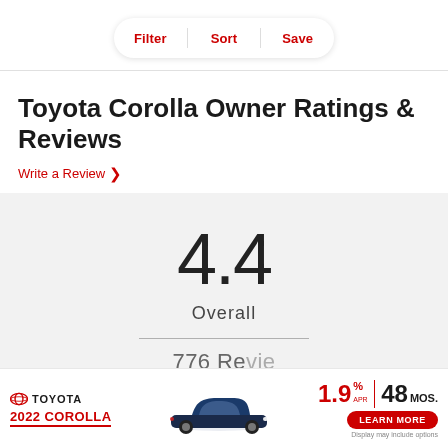[Figure (other): Toolbar with three red text buttons: Filter, Sort, Save, separated by vertical dividers, in a rounded white pill shape with shadow]
Toyota Corolla Owner Ratings & Reviews
Write a Review >
4.4
Overall
776 Reviews (partial, cut off)
[Figure (other): Toyota 2022 Corolla advertisement banner with Toyota oval logo, car image in blue, 1.9% APR | 48 MOS financing offer, red LEARN MORE button, and 'Display may include options' disclaimer]